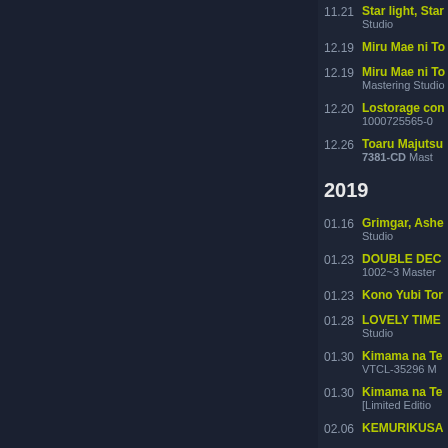11.21 Star light, Star... Studio
12.19 Miru Mae ni To...
12.19 Miru Mae ni To... Mastering Studio
12.20 Lostorage con... 1000725565-0...
12.26 Toaru Majutsu... 7381-CD Mast...
2019
01.16 Grimgar, Ashe... Studio
01.23 DOUBLE DEC... 1002~3 Master...
01.23 Kono Yubi Tor...
01.28 LOVELY TIME... Studio
01.30 Kimama na Te... VTCL-35296 M...
01.30 Kimama na Te... [Limited Editio...
02.06 KEMURIKUSA...